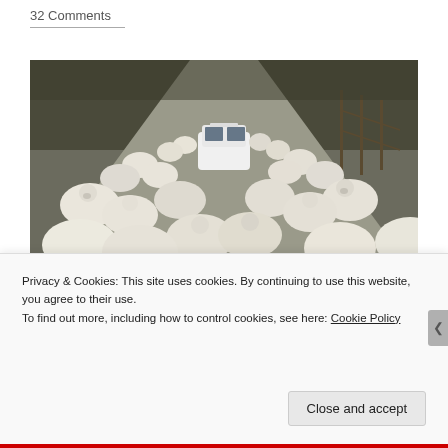32 Comments
[Figure (photo): A white SUV/car surrounded by a massive flock of sheep on a rural road, viewed from slightly above and behind the car. Sheep fill the entire road and beyond, with hills and fencing visible in the background.]
Last year, on July 15th I participated in this very same
Privacy & Cookies: This site uses cookies. By continuing to use this website, you agree to their use.
To find out more, including how to control cookies, see here: Cookie Policy